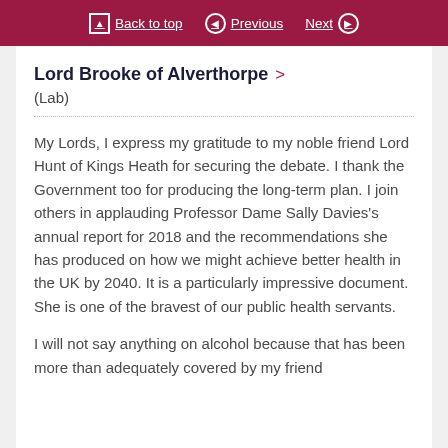Back to top | Previous | Next
Lord Brooke of Alverthorpe
(Lab)
My Lords, I express my gratitude to my noble friend Lord Hunt of Kings Heath for securing the debate. I thank the Government too for producing the long-term plan. I join others in applauding Professor Dame Sally Davies's annual report for 2018 and the recommendations she has produced on how we might achieve better health in the UK by 2040. It is a particularly impressive document. She is one of the bravest of our public health servants.
I will not say anything on alcohol because that has been more than adequately covered by my friend